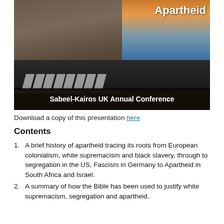[Figure (photo): A photo showing a large concrete separation wall/barrier with a road and crosswalk in the foreground, and a dramatic sky visible on the right side. Text overlay reads 'Apartheid' in white bold at top right, and a dark banner at the bottom reads 'Sabeel-Kairos UK Annual Conference'.]
Download a copy of this presentation here
Contents
A brief history of apartheid tracing its roots from European colonialism, white supremacism and black slavery, through to segregation in the US, Fascism in Germany to Apartheid in South Africa and Israel.
A summary of how the Bible has been used to justify white supremacism, segregation and apartheid.